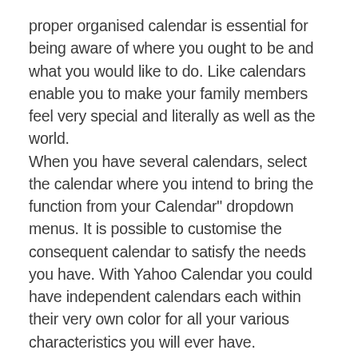proper organised calendar is essential for being aware of where you ought to be and what you would like to do. Like calendars enable you to make your family members feel very special and literally as well as the world. When you have several calendars, select the calendar where you intend to bring the function from your Calendar" dropdown menus. It is possible to customise the consequent calendar to satisfy the needs you have. With Yahoo Calendar you could have independent calendars each within their very own color for all your various characteristics you will ever have. Tool and perish makers use CAD to create products and elements. Our working arrangements maker is merely among our